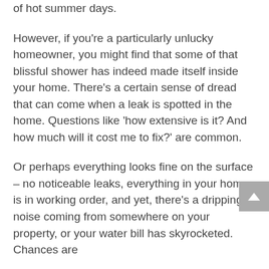of hot summer days.
However, if you're a particularly unlucky homeowner, you might find that some of that blissful shower has indeed made itself inside your home. There's a certain sense of dread that can come when a leak is spotted in the home. Questions like 'how extensive is it? And how much will it cost me to fix?' are common.
Or perhaps everything looks fine on the surface – no noticeable leaks, everything in your home is in working order, and yet, there's a dripping noise coming from somewhere on your property, or your water bill has skyrocketed. Chances are